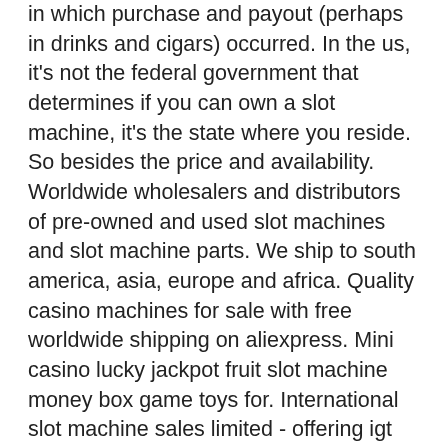in which purchase and payout (perhaps in drinks and cigars) occurred. In the us, it's not the federal government that determines if you can own a slot machine, it's the state where you reside. So besides the price and availability. Worldwide wholesalers and distributors of pre-owned and used slot machines and slot machine parts. We ship to south america, asia, europe and africa. Quality casino machines for sale with free worldwide shipping on aliexpress. Mini casino lucky jackpot fruit slot machine money box game toys for. International slot machine sales limited - offering igt game king, slot machines in kolkata, west bengal. Our new halloween themed slot machine will take you to this holiday, where you can have a good rest and have fun. But besides the usual entertainment and. The coin operated machine information site. New and used slot machines for sale near you on facebook